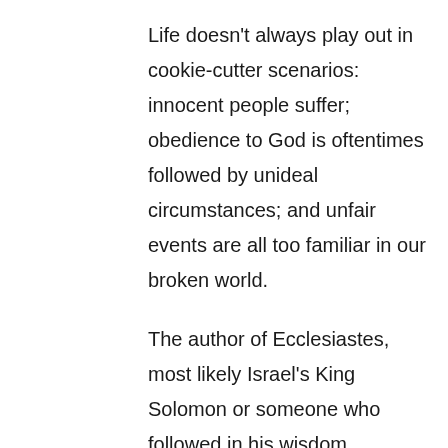Life doesn't always play out in cookie-cutter scenarios: innocent people suffer; obedience to God is oftentimes followed by unideal circumstances; and unfair events are all too familiar in our broken world.
The author of Ecclesiastes, most likely Israel's King Solomon or someone who followed in his wisdom philosophy, argues that there are two ways we can go through life given its often hard and unexplainable nature: we can try to find meaning and satisfaction apart from